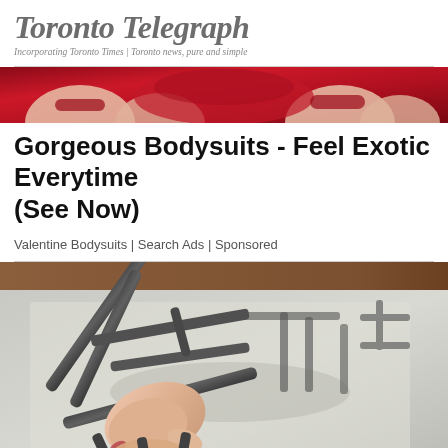Toronto Telegraph — Incorporating Toronto Times | Toronto news, pure and simple
[Figure (photo): Woman in red dress, legs visible, advertisement image for bodysuits]
Gorgeous Bodysuits - Feel Exotic Everytime (See Now)
Valentine Bodysuits | Search Ads | Sponsored
[Figure (photo): Hand holding a stove grate/burner from a gas stove, lifting it off the white stove surface]